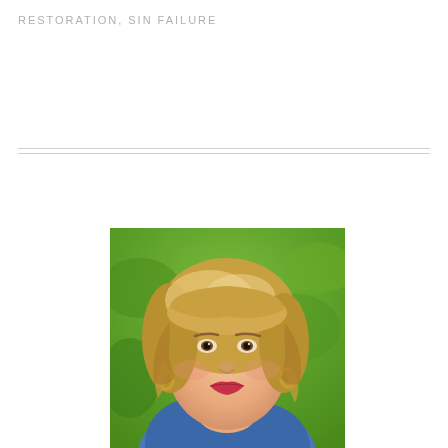RESTORATION, SIN FAILURE
[Figure (photo): Portrait photo of a middle-aged woman with blonde hair and bangs, wearing a blue denim jacket, smiling slightly, with a green blurred background (outdoors). She has gold hoop earrings and red lipstick.]